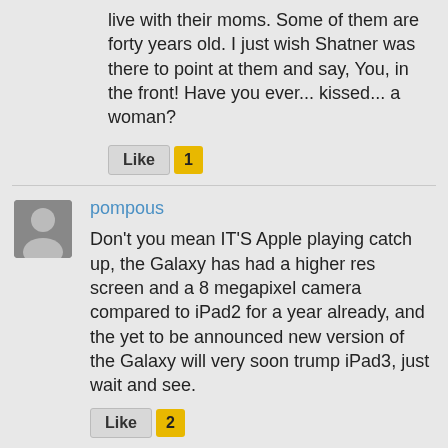live with their moms. Some of them are forty years old. I just wish Shatner was there to point at them and say, You, in the front! Have you ever... kissed... a woman?
Like 1
pompous
Don't you mean IT'S Apple playing catch up, the Galaxy has had a higher res screen and a 8 megapixel camera compared to iPad2 for a year already, and the yet to be announced new version of the Galaxy will very soon trump iPad3, just wait and see.
Like 2
Menneisyys
"Don't you mean IT'S Apple playing catch up, the Galaxy has had a higher res screen and a 8 megapixel camera compared to iPad2 for a year already, and the yet to be announced new